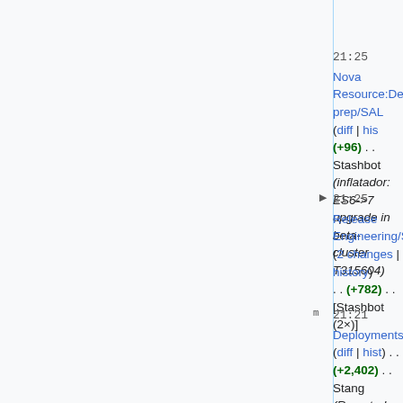Rook (→eqiad1)
21:25 Nova Resource:Deployment prep/SAL (diff | hist) (+96) . . Stashbot (inflatador: ES6->7 upgrade in beta-cluster T315604)
21:25 Release Engineering/SAL (2 changes | history) . . (+782) . . [Stashbot (2×)]
21:21 Deployments (diff | hist) . . (+2,402) . . Stang (Reverted edits by Stang (talk)